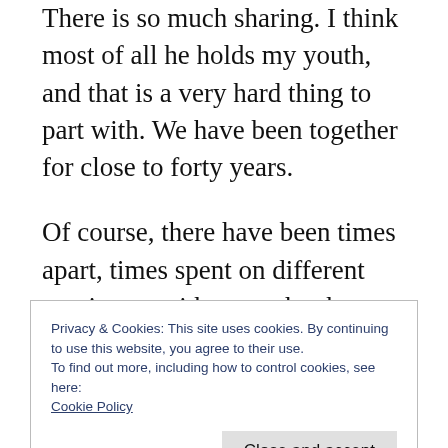There is so much sharing. I think most of all he holds my youth, and that is a very hard thing to part with. We have been together for close to forty years.
Of course, there have been times apart, times spent on different continents without each other. But as one gets older, those times fade, and the memories of past thrills together grow stronger. I don’t know how he feels, or indeed if he feels very much at all now. He is very old.
Privacy & Cookies: This site uses cookies. By continuing to use this website, you agree to their use.
To find out more, including how to control cookies, see here: Cookie Policy
Close and accept
again and even more desirable. He is so